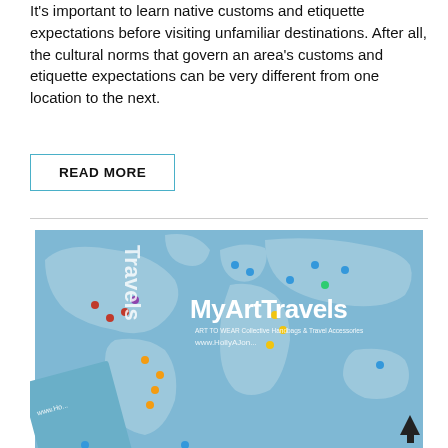It's important to learn native customs and etiquette expectations before visiting unfamiliar destinations. After all, the cultural norms that govern an area's customs and etiquette expectations can be very different from one location to the next.
READ MORE
[Figure (photo): Photo of MyArtTravels world map travel accessories with colorful pins marking locations on a light blue world map background. Text reads 'MyArtTravels' and 'www.HollyAJon...' and 'ART TO WEAR Collective Handbags & Travel Accessories']